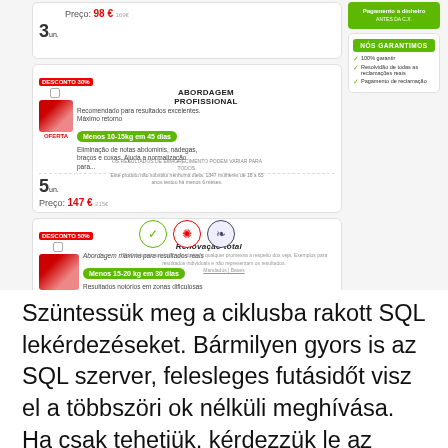[Figure (screenshot): E-commerce product page screenshot showing supplement packages with pricing in Euros, guarantee box, trust badges, and disclaimer text in Portuguese.]
Szüntessük meg a ciklusba rakott SQL lekérdezéseket. Bármilyen gyors is az SQL szerver, felesleges futásidőt visz el a többszöri ok nélküli meghívása. Ha csak tehetjük, kérdezzük le az adatainkat egyben, ne pedig